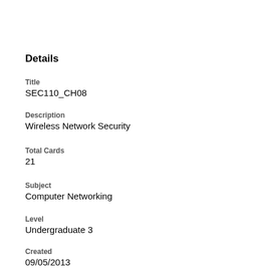Details
Title
SEC110_CH08
Description
Wireless Network Security
Total Cards
21
Subject
Computer Networking
Level
Undergraduate 3
Created
09/05/2013